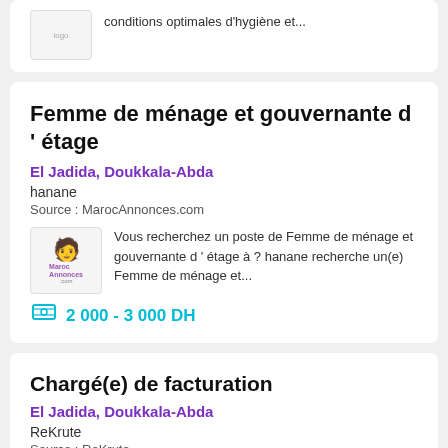conditions optimales d'hygiène et...
Femme de ménage et gouvernante d ' étage
El Jadida, Doukkala-Abda
hanane
Source : MarocAnnonces.com
Vous recherchez un poste de Femme de ménage et gouvernante d ' étage à ? hanane recherche un(e) Femme de ménage et...
2 000 - 3 000 DH
Chargé(e) de facturation
El Jadida, Doukkala-Abda
ReKrute
Source : ReKrute
Entreprise. Dans le cadre de notre plan de